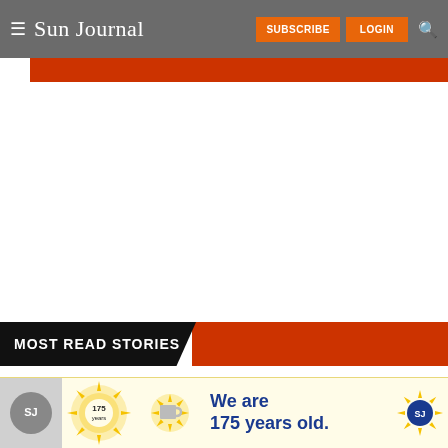Sun Journal — SUBSCRIBE  LOGIN
MOST READ STORIES
1. Junk or art? Greene files charges for junkyard, flea market violations
[Figure (infographic): Sun Journal 175 years anniversary advertisement banner: hat, mug, sunburst graphics with text 'We are 175 years old.']